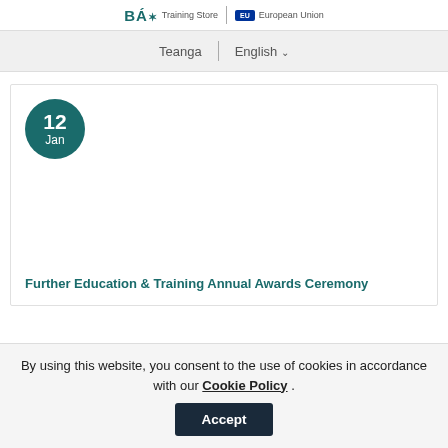Training Store | European Union
Teanga | English
[Figure (other): Date badge circle showing '12 Jan' in teal/dark green color]
Further Education & Training Annual Awards Ceremony
By using this website, you consent to the use of cookies in accordance with our Cookie Policy . Accept